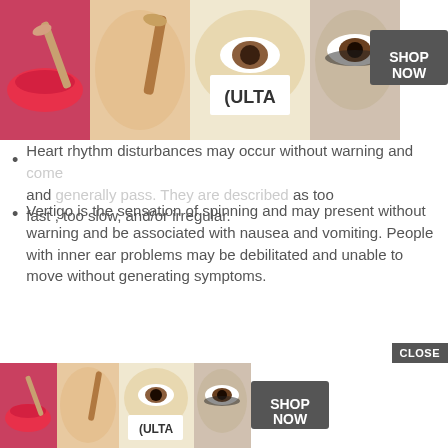[Figure (screenshot): ULTA beauty advertisement banner at top of page showing makeup/cosmetics images with 'SHOP NOW' button]
Heart rhythm disturbances may occur without warning and generally pass. They are described as too fast , too slow, and/or irregular.
Vertigo is the sensation of spinning and may present without warning and be associated with nausea and vomiting. People with inner ear problems may be debilitated and unable to move without generating symptoms.
...ause of vertigo such as a ...e associated coordination ...king , and other signs of stroke
[Figure (screenshot): Video player overlay with black background and white loading spinner circle]
Also Check:
What Vitamin Deficiency Causes Sugar Cravings
Wha
[Figure (screenshot): ULTA beauty advertisement banner at bottom of page showing makeup/cosmetics images with 'SHOP NOW' button, with CLOSE button]